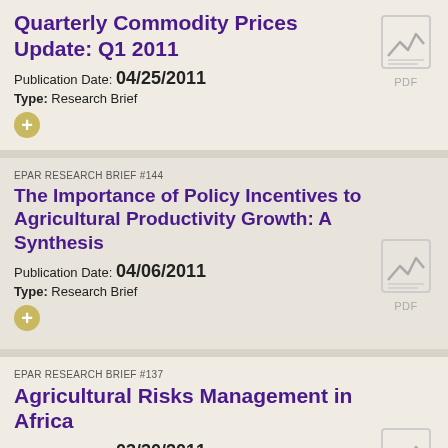Quarterly Commodity Prices Update: Q1 2011
Publication Date: 04/25/2011
Type: Research Brief
[Figure (other): PDF document icon with chart graphic]
EPAR RESEARCH BRIEF #144
The Importance of Policy Incentives to Agricultural Productivity Growth: A Synthesis
Publication Date: 04/06/2011
Type: Research Brief
[Figure (other): PDF document icon with chart graphic]
EPAR RESEARCH BRIEF #137
Agricultural Risks Management in Africa
Publication Date: 03/30/2011
Type: Research Brief
[Figure (other): PDF document icon with chart graphic]